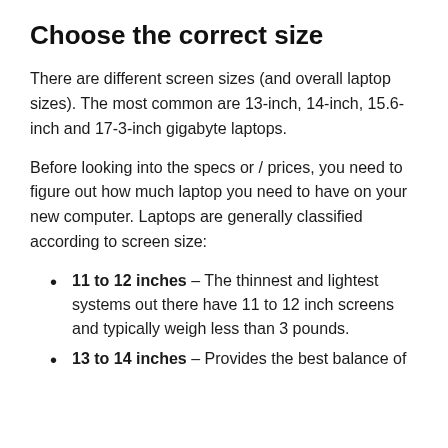Choose the correct size
There are different screen sizes (and overall laptop sizes). The most common are 13-inch, 14-inch, 15.6-inch and 17-3-inch gigabyte laptops.
Before looking into the specs or / prices, you need to figure out how much laptop you need to have on your new computer. Laptops are generally classified according to screen size:
11 to 12 inches – The thinnest and lightest systems out there have 11 to 12 inch screens and typically weigh less than 3 pounds.
13 to 14 inches – Provides the best balance of